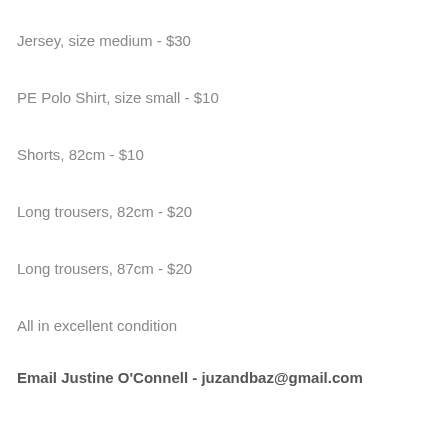Jersey, size medium - $30
PE Polo Shirt, size small - $10
Shorts, 82cm - $10
Long trousers, 82cm - $20
Long trousers, 87cm - $20
All in excellent condition
Email Justine O'Connell - juzandbaz@gmail.com